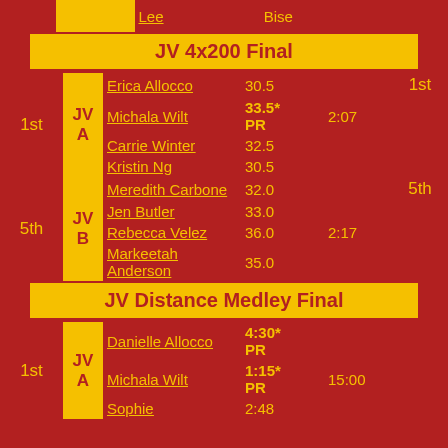| Place | Team | Name | Split | Time | Finish |
| --- | --- | --- | --- | --- | --- |
|  |  | Lee | Bise |  |  |
| JV 4x200 Final |  |  |  |  |  |
| 1st | JV A | Erica Allocco | 30.5 |  | 1st |
|  |  | Michala Wilt | 33.5* PR | 2:07 |  |
|  |  | Carrie Winter | 32.5 |  |  |
|  |  | Kristin Ng | 30.5 |  |  |
| 5th | JV B | Meredith Carbone | 32.0 |  | 5th |
|  |  | Jen Butler | 33.0 |  |  |
|  |  | Rebecca Velez | 36.0 | 2:17 |  |
|  |  | Markeetah Anderson | 35.0 |  |  |
| JV Distance Medley Final |  |  |  |  |  |
| 1st | JV A | Danielle Allocco | 4:30* PR |  |  |
|  |  | Michala Wilt | 1:15* PR | 15:00 |  |
|  |  | Sophie | 2:48 |  |  |